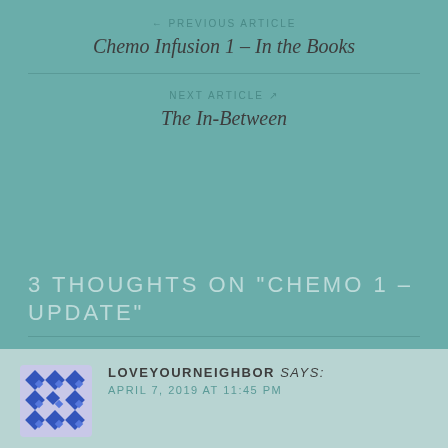← PREVIOUS ARTICLE
Chemo Infusion 1 – In the Books
NEXT ARTICLE →
The In-Between
3 THOUGHTS ON "CHEMO 1 – UPDATE"
LOVEYOURNEIGHBOR says:
APRIL 7, 2019 AT 11:45 PM